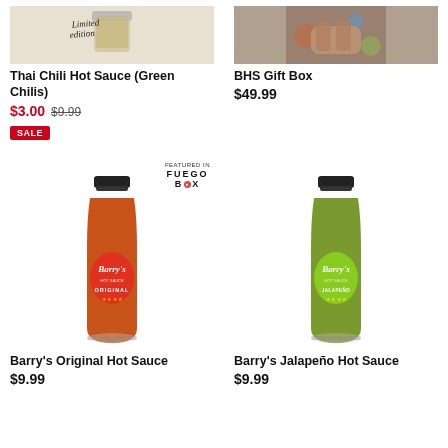[Figure (photo): Thai Chili Hot Sauce product image (limited edition jar with script text)]
[Figure (photo): BHS Gift Box product image showing hands holding items with bokeh background]
Thai Chili Hot Sauce (Green Chilis)
$3.00 $9.99 SALE
BHS Gift Box
$49.99
[Figure (photo): Barry's Original Hot Sauce bottle with red circular label, Featured in Fuego Box badge]
[Figure (photo): Barry's Jalapeño Hot Sauce bottle with green circular label]
Barry's Original Hot Sauce
$9.99
Barry's Jalapeño Hot Sauce
$9.99